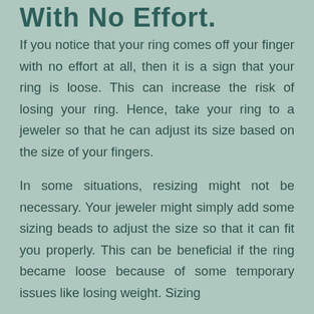With No Effort.
If you notice that your ring comes off your finger with no effort at all, then it is a sign that your ring is loose. This can increase the risk of losing your ring. Hence, take your ring to a jeweler so that he can adjust its size based on the size of your fingers.
In some situations, resizing might not be necessary. Your jeweler might simply add some sizing beads to adjust the size so that it can fit you properly. This can be beneficial if the ring became loose because of some temporary issues like losing weight. Sizing